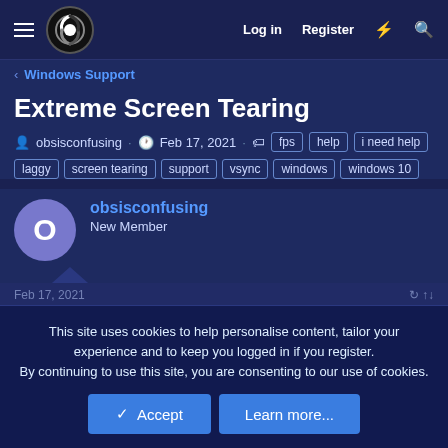Log in  Register
< Windows Support
Extreme Screen Tearing
obsisconfusing · Feb 17, 2021 · fps  help  i need help  laggy  screen tearing  support  vsync  windows  windows 10
obsisconfusing
New Member
This site uses cookies to help personalise content, tailor your experience and to keep you logged in if you register.
By continuing to use this site, you are consenting to our use of cookies.
Accept  Learn more...